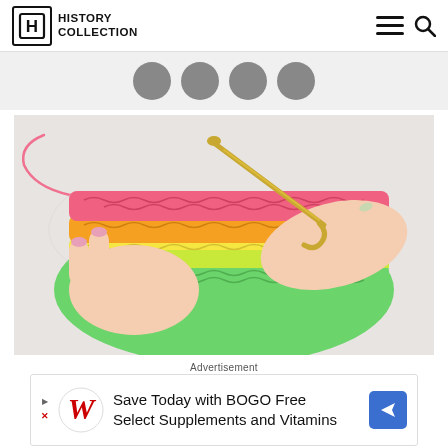History Collection
[Figure (photo): Four dark gray social media share buttons (circles) on a light gray background bar]
[Figure (photo): Photo of two hands crocheting a rainbow-colored piece of crochet work with a gold crochet hook, on a white background. The crochet has stripes of pink, orange, yellow, and green.]
Advertisement
[Figure (infographic): Walgreens advertisement banner: 'Save Today with BOGO Free Select Supplements and Vitamins']